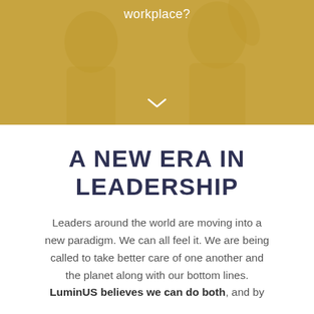[Figure (photo): Golden-toned photo overlay of two people in a workplace setting, with the word 'workplace?' visible at the top and a downward chevron arrow near the bottom]
A NEW ERA IN LEADERSHIP
Leaders around the world are moving into a new paradigm. We can all feel it. We are being called to take better care of one another and the planet along with our bottom lines. LuminUS believes we can do both, and by